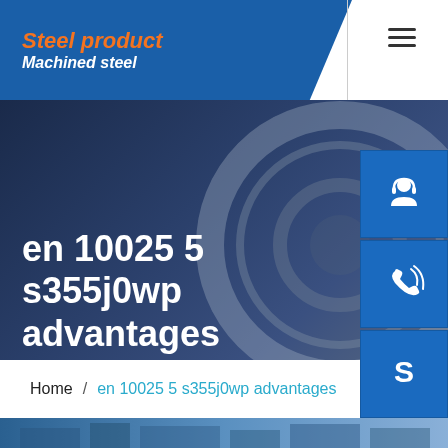Steel product | Machined steel
en 10025 5 s355j0wp advantages
[Figure (screenshot): Three blue sidebar icon buttons: customer service/headset, phone with signal, and Skype logo]
Home / en 10025 5 s355j0wp advantages
[Figure (photo): Industrial steel facility exterior photo strip at bottom of page]